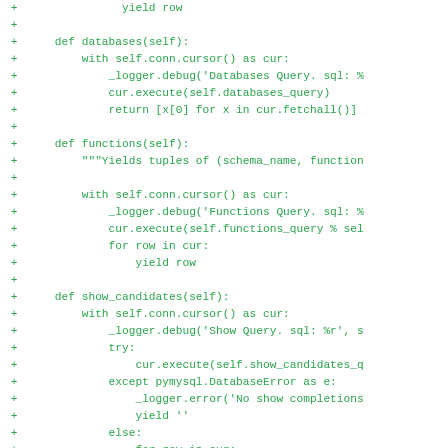[Figure (other): A diff/code block showing Python source code with green '+' markers on each line, displaying methods: databases(), functions(), show_candidates(), and partial users() in monospace green text on white background.]